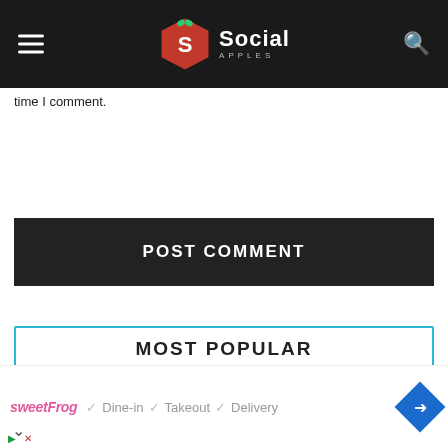Social Apples — site header with navigation menu and search icon
time I comment.
POST COMMENT
MOST POPULAR
[Figure (photo): Thumbnail image for article: Common Website Mistakes Which Hurt Your SEO Rankings — blue background with bar chart graphic]
Common Website Mistakes Which Hurt Your SEO Rankings
June 25, 2022
[Figure (infographic): Advertisement banner: sweetFrog — Dine-in, Takeout, Delivery with checkmarks and navigation arrow]